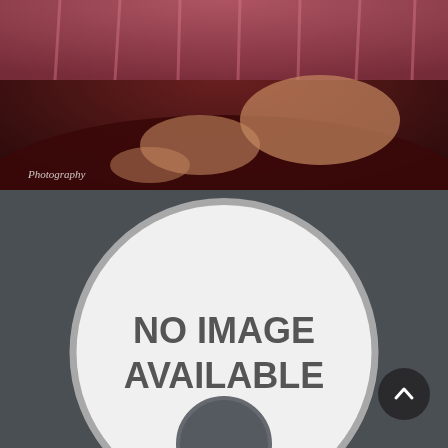[Figure (photo): Boudoir-style photograph of a woman posing on a dark red/maroon sofa with pink curtains in background. Watermark text 'Photography' visible in lower left corner.]
[Figure (other): Large circular placeholder graphic with gray border on dark gray background containing text 'NO IMAGE AVAILABLE' in bold dark gray letters.]
NO IMAGE AVAILABLE